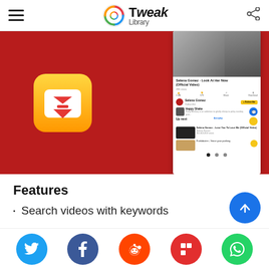Tweak Library
[Figure (screenshot): App screenshot showing a video downloader app icon on red background with a YouTube mobile app screenshot panel on the right showing Selena Gomez videos]
Features
Search videos with keywords
[Figure (infographic): Blue circle scroll-to-top button with upward arrow]
Social share buttons: Twitter, Facebook, Reddit, Flipboard, WhatsApp